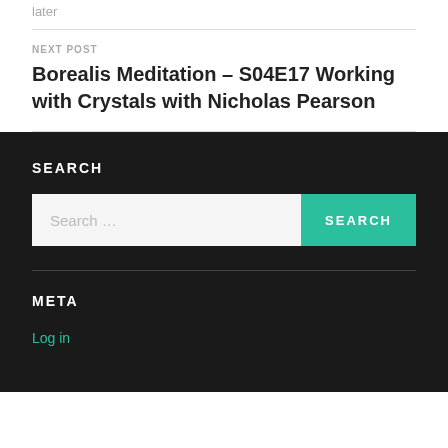later
NEXT POST
Borealis Meditation – S04E17 Working with Crystals with Nicholas Pearson
SEARCH
Search …
META
Log in